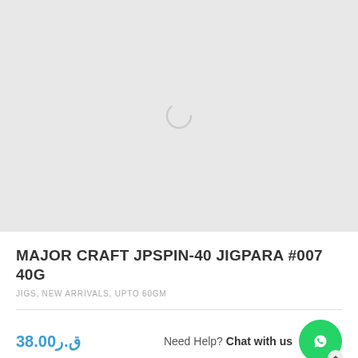[Figure (other): Loading spinner on light gray background — product image area with a circular spinner icon centered]
MAJOR CRAFT JPSPIN-40 JIGPARA #007 40G
JIGS, NEW ARRIVALS, UPTO 60GM
38.00ق.ر
Need Help? Chat with us